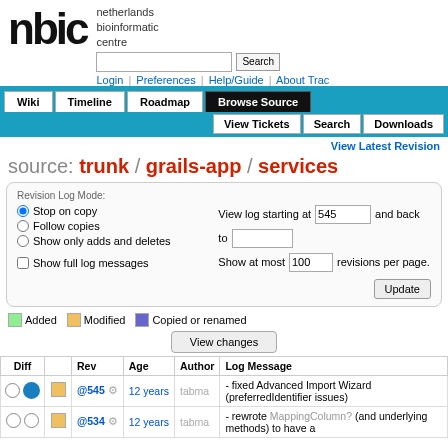nbic - netherlands bioinformatic centre - Login | Preferences | Help/Guide | About Trac
Wiki | Timeline | Roadmap | Browse Source | View Tickets | Search | Downloads
View Latest Revision
source: trunk / grails-app / services
Revision Log Mode: Stop on copy (selected), Follow copies, Show only adds and deletes, Show full log messages. View log starting at 545 and back to [blank]. Show at most 100 revisions per page. Update button.
Added | Modified | Copied or renamed
View changes
| Diff |  | Rev | Age | Author | Log Message |
| --- | --- | --- | --- | --- | --- |
| ○ ● | □ | @545 ⚙ | 12 years | tabma | - fixed Advanced Import Wizard (preferredIdentifier issues) |
| ○ ○ | □ | @534 ⚙ | 12 years | tabma | - rewrote MappingColumn? (and underlying methods) to have a |